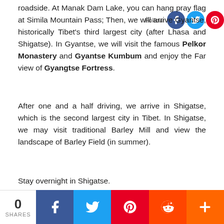roadside. At Manak Dam Lake, you can hang pray flag at Simila Mountain Pass; Then, we will arrive Gyantse, historically Tibet's third largest city (after Lhasa and Shigatse). In Gyantse, we will visit the famous Pelkor Monastery and Gyantse Kumbum and enjoy the Far view of Gyangtse Fortress.
After one and a half driving, we arrive in Shigatse, which is the second largest city in Tibet. In Shigatse, we may visit traditional Barley Mill and view the landscape of Barley Field (in summer).
Stay overnight in Shigatse.
Day 18 Shigatse (3900m) – Everest Base Camp(5200)